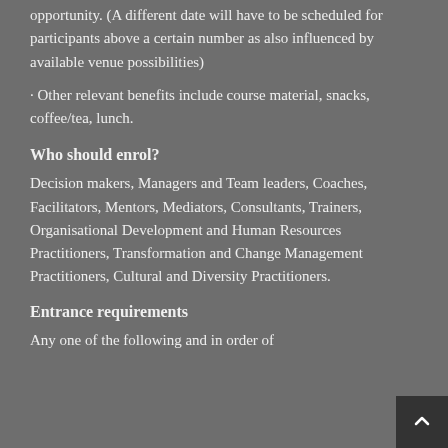opportunity. (A different date will have to be scheduled for participants above a certain number as also influenced by available venue possibilities)
• Other relevant benefits include course material, snacks, coffee/tea, lunch.
Who should enrol?
Decision makers, Managers and Team leaders, Coaches, Facilitators, Mentors, Mediators, Consultants, Trainers, Organisational Development and Human Resources Practitioners, Transformation and Change Management Practitioners, Cultural and Diversity Practitioners.
Entrance requirements
Any one of the following and in order of